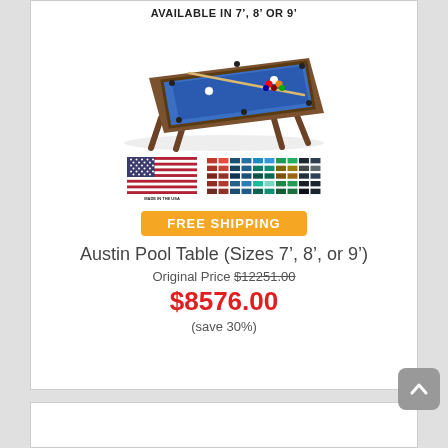AVAILABLE IN 7', 8' OR 9'
[Figure (photo): Austin Pool Table with blue felt surface and wood legs, angled product shot]
[Figure (infographic): USA flag with 'MADE IN THE USA' text below, and a grid of felt color swatches (multiple colors including blue, red, green, black, etc.)]
FREE SHIPPING
Austin Pool Table (Sizes 7', 8', or 9')
Original Price $12251.00
$8576.00
(save 30%)